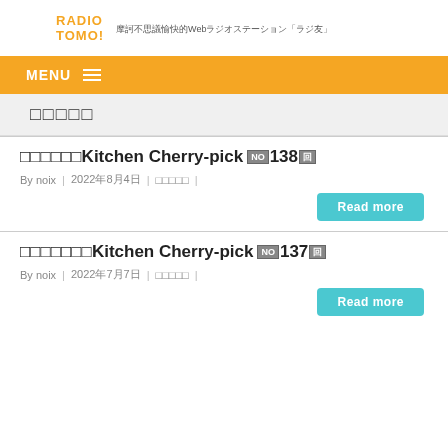RADIO TOMO! 摩訶不思議愉快的WebラジオステーションFラジ友」
MENU ≡
□□□□□
□□□□□□Kitchen Cherry-pick №138回
By noix | 2022年8月4日 | □□□□□ |
Read more
□□□□□□□Kitchen Cherry-pick №137回
By noix | 2022年7月7日 | □□□□□ |
Read more